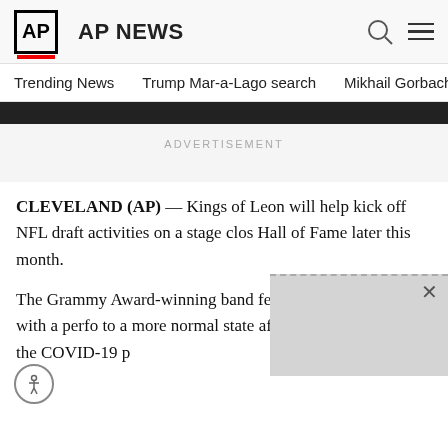AP AP NEWS
Trending News   Trump Mar-a-Lago search   Mikhail Gorbachev d
ADVERTISEMENT
CLEVELAND (AP) — Kings of Leon will help kick off NFL draft activities on a stage clos Hall of Fame later this month.
The Grammy Award-winning band festivities on April 29 with a perfo to a more normal state afte in 2020 because of the COVID-19 p